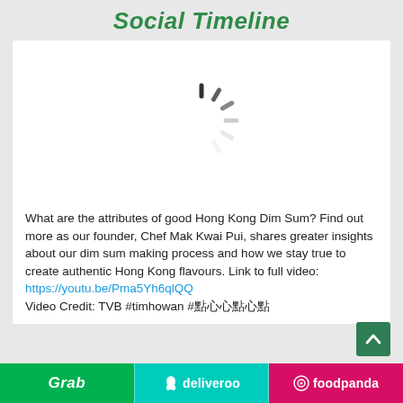Social Timeline
[Figure (screenshot): White card area with a loading spinner icon (dark grey radial lines) centered in the media area]
What are the attributes of good Hong Kong Dim Sum? Find out more as our founder, Chef Mak Kwai Pui, shares greater insights about our dim sum making process and how we stay true to create authentic Hong Kong flavours. Link to full video:
https://youtu.be/Pma5Yh6qlQQ
Video Credit: TVB #timhowan #點心
Grab   deliveroo   foodpanda